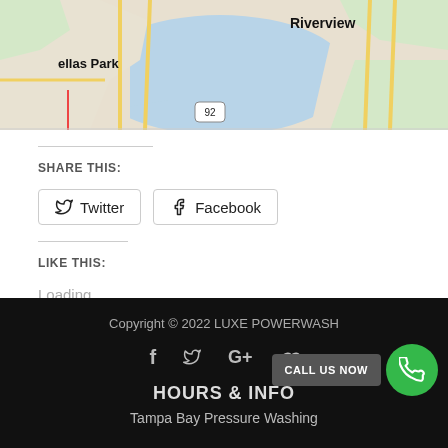[Figure (map): Google Maps screenshot showing Tampa Bay area with Riverview label on right, ellas Park label on left, highway 92 marker, blue water area in center]
SHARE THIS:
Twitter
Facebook
LIKE THIS:
Loading...
Copyright © 2022 LUXE POWERWASH
HOURS & INFO
Tampa Bay Pressure Washing